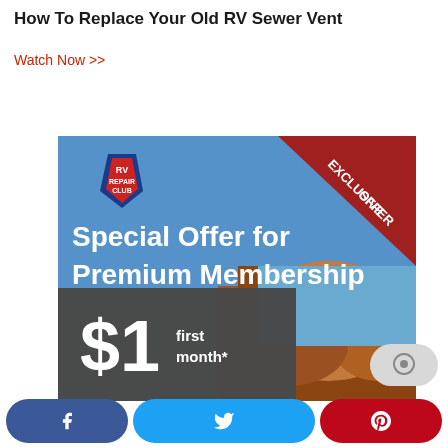How To Replace Your Old RV Sewer Vent
Watch Now >>
[Figure (infographic): RV Repair Club advertisement banner with blue background, 'EXCLUSIVE OFFER' red corner ribbon, RV Repair Club shield logo, text 'Special Offer for Premium Membership', and '$1 first month*' pricing offer with desert/canyon background photo.]
[Figure (infographic): Social sharing bar at bottom with Facebook (blue), Twitter (light blue), and Pinterest (red) buttons, plus a chat bubble icon.]